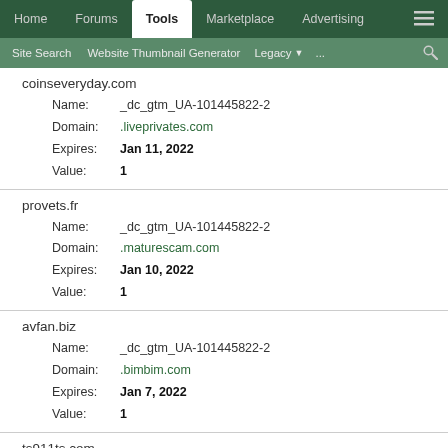Home | Forums | Tools | Marketplace | Advertising
Site Search | Website Thumbnail Generator | Legacy | ... | search
coinseveryday.com
Name: _dc_gtm_UA-101445822-2
Domain: .liveprivates.com
Expires: Jan 11, 2022
Value: 1
provets.fr
Name: _dc_gtm_UA-101445822-2
Domain: .maturescam.com
Expires: Jan 10, 2022
Value: 1
avfan.biz
Name: _dc_gtm_UA-101445822-2
Domain: .bimbim.com
Expires: Jan 7, 2022
Value: 1
ts911ts.com
Name: _dc_gtm_UA-101445822-2
Domain: .joyourself.com
Expires: Jan 6, 2022